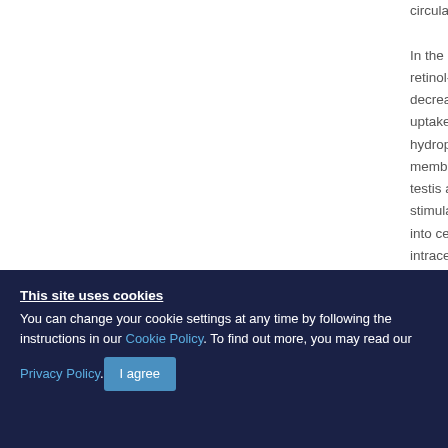circulation
In the circulation, retinol-RBP decreases uptake into hydrophobic membrane of testis and stimulates into cells intracellular molecule aqueous medium dissociate
This site uses cookies
You can change your cookie settings at any time by following the instructions in our Cookie Policy. To find out more, you may read our Privacy Policy.
I agree